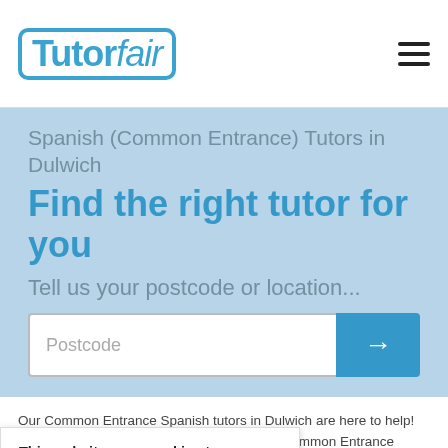TutorFair
Spanish (Common Entrance) Tutors in Dulwich
Find the right tutor for you
Tell us your postcode or location...
Postcode
Our Common Entrance Spanish tutors in Dulwich are here to help! Search using your postcode to find the best Common Entrance Spanish tutor in
16 Common Entrance Spanish Tutors in Dulwich
This website uses cookies to ensure you get the best experience on our website. Learn more
Got it!